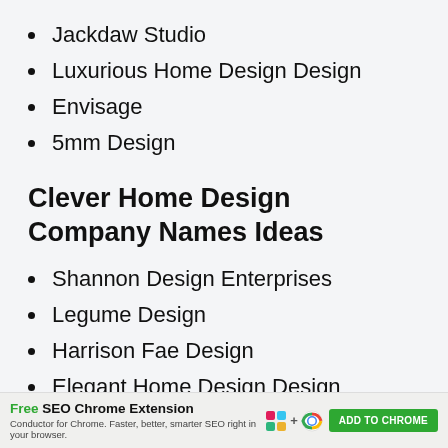Jackdaw Studio
Luxurious Home Design Design
Envisage
5mm Design
Clever Home Design Company Names Ideas
Shannon Design Enterprises
Legume Design
Harrison Fae Design
Elegant Home Design Design
Hazel Tree Design Studio
[Figure (infographic): Ad banner for Free SEO Chrome Extension by Conductor. Includes Slack and Chrome icons, green ADD TO CHROME button.]